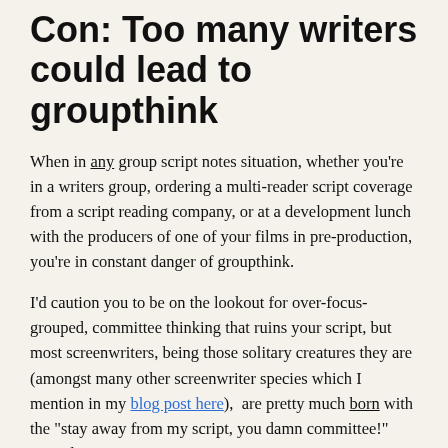Con: Too many writers could lead to groupthink
When in any group script notes situation, whether you're in a writers group, ordering a multi-reader script coverage from a script reading company, or at a development lunch with the producers of one of your films in pre-production, you're in constant danger of groupthink.
I'd caution you to be on the lookout for over-focus-grouped, committee thinking that ruins your script, but most screenwriters, being those solitary creatures they are (amongst many other screenwriter species which I mention in my blog post here),  are pretty much born with the "stay away from my script, you damn committee!" mentality, so